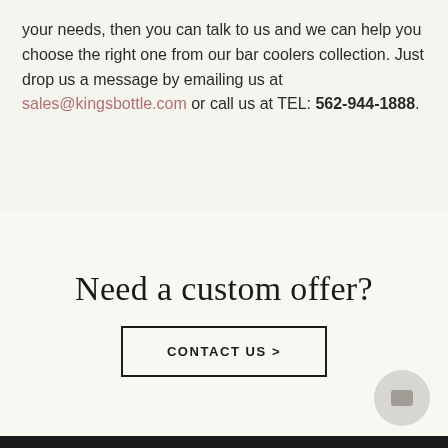your needs, then you can talk to us and we can help you choose the right one from our bar coolers collection. Just drop us a message by emailing us at sales@kingsbottle.com or call us at TEL: 562-944-1888.
Need a custom offer?
CONTACT US >